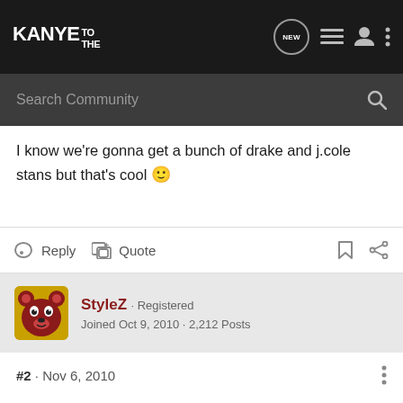KANYE TO THE — navigation bar with search
I know we're gonna get a bunch of drake and j.cole stans but that's cool 🙂
Reply   Quote
StyleZ · Registered
Joined Oct 9, 2010 · 2,212 Posts
#2 · Nov 6, 2010